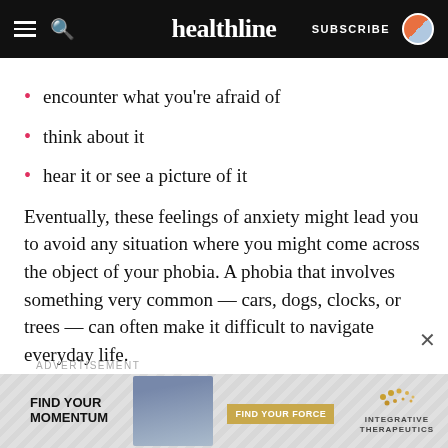healthline — SUBSCRIBE
encounter what you're afraid of
think about it
hear it or see a picture of it
Eventually, these feelings of anxiety might lead you to avoid any situation where you might come across the object of your phobia. A phobia that involves something very common — cars, dogs, clocks, or trees — can often make it difficult to navigate everyday life.
The DSM-5 recognizes 5 types of phobias:
[Figure (screenshot): Advertisement banner: FIND YOUR MOMENTUM / FIND YOUR FORCE button / INTEGRATIVE THERAPEUTICS logo, with photo of a man]